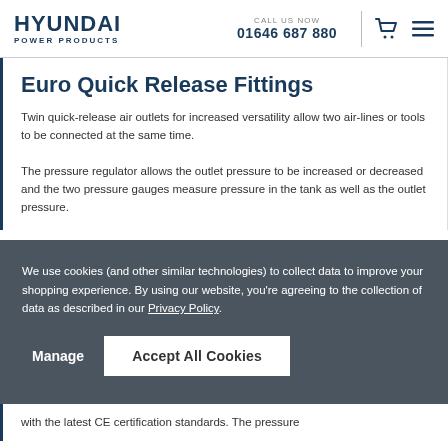HYUNDAI POWER PRODUCTS | CALL US NOW 01646 687 880
Euro Quick Release Fittings
Twin quick-release air outlets for increased versatility allow two air-lines or tools to be connected at the same time.
The pressure regulator allows the outlet pressure to be increased or decreased and the two pressure gauges measure pressure in the tank as well as the outlet pressure.
We use cookies (and other similar technologies) to collect data to improve your shopping experience. By using our website, you're agreeing to the collection of data as described in our Privacy Policy.
with the latest CE certification standards. The pressure